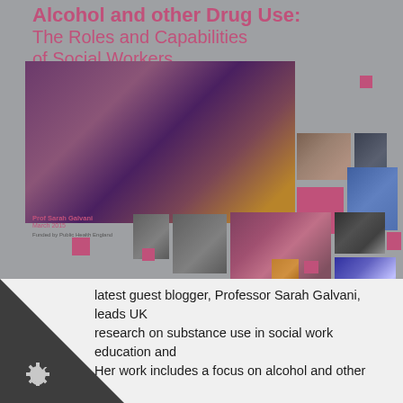Alcohol and other Drug Use: The Roles and Capabilities of Social Workers
[Figure (photo): Collage of photos related to alcohol and drug use: dancing crowd, hands with drinks, various lifestyle scenes, with magenta decorative squares]
Prof Sarah Galvani
March 2015
Funded by Public Health England
latest guest blogger, Professor Sarah Galvani, leads UK research on substance use in social work education and Her work includes a focus on alcohol and other